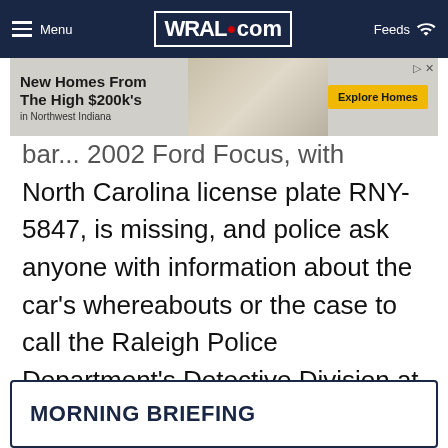Menu | WRAL.com | Feeds
[Figure (other): Advertisement banner: New Homes From The High $200k's in Northwest Indiana - Explore Homes button]
North Carolina license plate RNY-5847, is missing, and police ask anyone with information about the car's whereabouts or the case to call the Raleigh Police Department's Detective Division at 919-996-3555 or Raleigh Crime Stoppers at 919-834-HELP.
MORNING BRIEFING